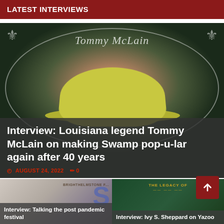LATEST INTERVIEWS
[Figure (photo): Tommy McLain wearing a yellow-green cowboy hat against a background with his name displayed in decorative script, with fleur-de-lis ornaments]
Interview: Louisiana legend Tommy McLain on making Swamp pop-u-lar again after 40 years
AUGUST 24, 2022  0
[Figure (photo): Thumbnail image for interview about talking the post pandemic festival, with colorful background]
[Figure (photo): Thumbnail image for Interview: Ivy S. Sheppard on Yazoo, with dark green background and 'The Legacy Of' text header]